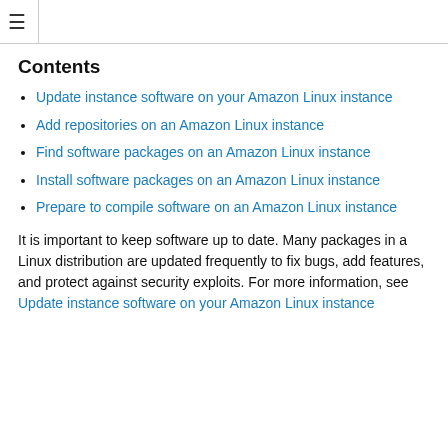≡
Contents
Update instance software on your Amazon Linux instance
Add repositories on an Amazon Linux instance
Find software packages on an Amazon Linux instance
Install software packages on an Amazon Linux instance
Prepare to compile software on an Amazon Linux instance
It is important to keep software up to date. Many packages in a Linux distribution are updated frequently to fix bugs, add features, and protect against security exploits. For more information, see Update instance software on your Amazon Linux instance